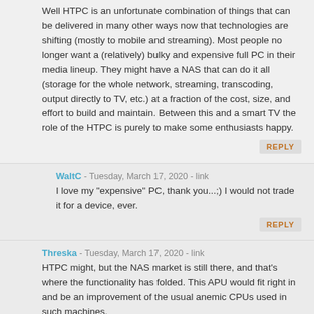Well HTPC is an unfortunate combination of things that can be delivered in many other ways now that technologies are shifting (mostly to mobile and streaming). Most people no longer want a (relatively) bulky and expensive full PC in their media lineup. They might have a NAS that can do it all (storage for the whole network, streaming, transcoding, output directly to TV, etc.) at a fraction of the cost, size, and effort to build and maintain. Between this and a smart TV the role of the HTPC is purely to make some enthusiasts happy.
REPLY
WaltC - Tuesday, March 17, 2020 - link
I love my "expensive" PC, thank you...;) I would not trade it for a device, ever.
REPLY
Threska - Tuesday, March 17, 2020 - link
HTPC might, but the NAS market is still there, and that's where the functionality has folded. This APU would fit right in and be an improvement of the usual anemic CPUs used in such machines.